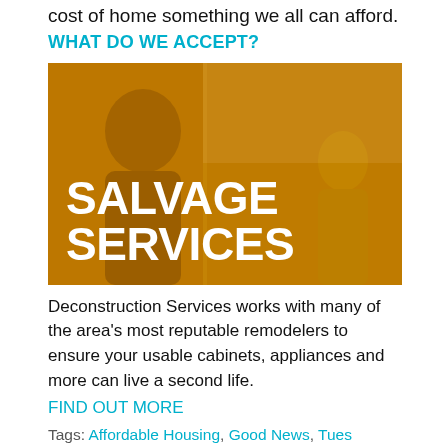cost of home something we all can afford.
WHAT DO WE ACCEPT?
[Figure (photo): Orange-tinted photo of two people near kitchen cabinets with large white text overlay reading SALVAGE SERVICES]
Deconstruction Services works with many of the area's most reputable remodelers to ensure your usable cabinets, appliances and more can live a second life.
FIND OUT MORE
Tags: Affordable Housing, Good News, Tues